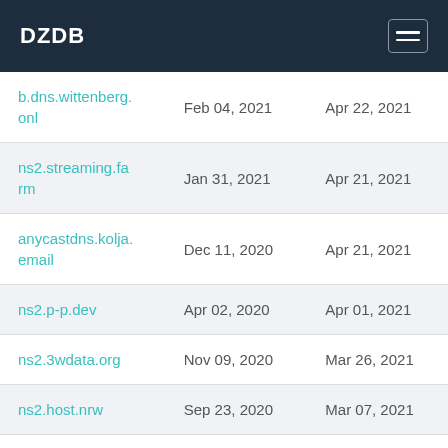DZDB
| Domain | First Seen | Last Seen |
| --- | --- | --- |
| b.dns.wittenberg.onl | Feb 04, 2021 | Apr 22, 2021 |
| ns2.streaming.farm | Jan 31, 2021 | Apr 21, 2021 |
| anycastdns.kolja.email | Dec 11, 2020 | Apr 21, 2021 |
| ns2.p-p.dev | Apr 02, 2020 | Apr 01, 2021 |
| ns2.3wdata.org | Nov 09, 2020 | Mar 26, 2021 |
| ns2.host.nrw | Sep 23, 2020 | Mar 07, 2021 |
| ns2.anonym- | Jan 08, 2019 | Feb 21, 2021 |